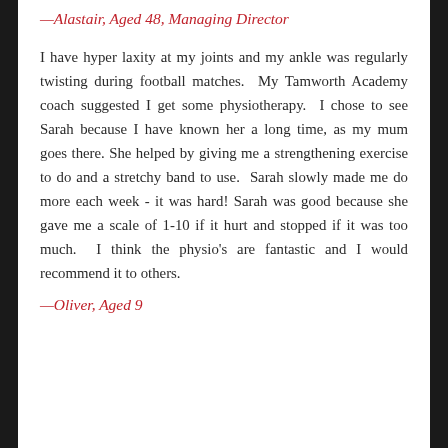—Alastair, Aged 48, Managing Director
I have hyper laxity at my joints and my ankle was regularly twisting during football matches. My Tamworth Academy coach suggested I get some physiotherapy. I chose to see Sarah because I have known her a long time, as my mum goes there. She helped by giving me a strengthening exercise to do and a stretchy band to use. Sarah slowly made me do more each week - it was hard! Sarah was good because she gave me a scale of 1-10 if it hurt and stopped if it was too much. I think the physio's are fantastic and I would recommend it to others.
—Oliver, Aged 9